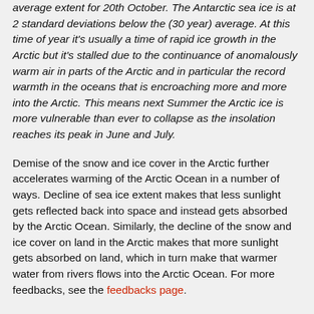average extent for 20th October. The Antarctic sea ice is at 2 standard deviations below the (30 year) average. At this time of year it's usually a time of rapid ice growth in the Arctic but it's stalled due to the continuance of anomalously warm air in parts of the Arctic and in particular the record warmth in the oceans that is encroaching more and more into the Arctic. This means next Summer the Arctic ice is more vulnerable than ever to collapse as the insolation reaches its peak in June and July.
Demise of the snow and ice cover in the Arctic further accelerates warming of the Arctic Ocean in a number of ways. Decline of sea ice extent makes that less sunlight gets reflected back into space and instead gets absorbed by the Arctic Ocean. Similarly, the decline of the snow and ice cover on land in the Arctic makes that more sunlight gets absorbed on land, which in turn make that warmer water from rivers flows into the Arctic Ocean. For more feedbacks, see the feedbacks page.
There's a growing danger is that further warming of the Arctic Ocean will trigger huge eruptions of methane from its